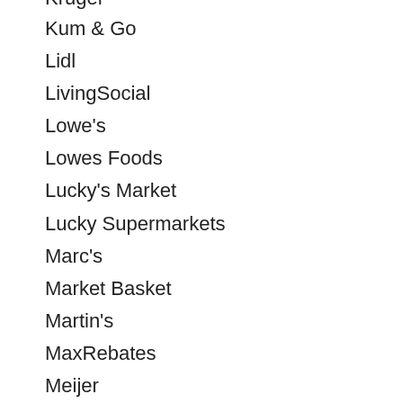Kruger
Kum & Go
Lidl
LivingSocial
Lowe's
Lowes Foods
Lucky's Market
Lucky Supermarkets
Marc's
Market Basket
Martin's
MaxRebates
Meijer
MileagePlus X MPX
MyGiftCardsPlus
Mr Rebates
My Sprint Rewards
Newegg